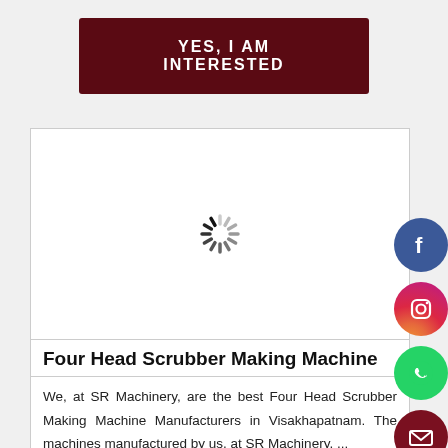YES, I AM INTERESTED
[Figure (screenshot): Loading spinner / image placeholder in a white content box]
Four Head Scrubber Making Machine
We, at SR Machinery, are the best Four Head Scrubber Making Machine Manufacturers in Visakhapatnam. The machines manufactured by us, at SR Machinery, ...